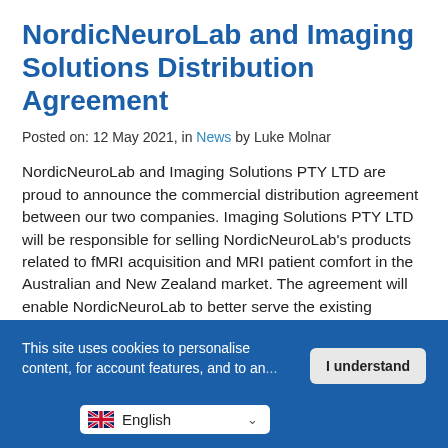NordicNeuroLab and Imaging Solutions Distribution Agreement
Posted on: 12 May 2021, in News by Luke Molnar
NordicNeuroLab and Imaging Solutions PTY LTD are proud to announce the commercial distribution agreement between our two companies. Imaging Solutions PTY LTD will be responsible for selling NordicNeuroLab's products related to fMRI acquisition and MRI patient comfort in the Australian and New Zealand market. The agreement will enable NordicNeuroLab to better serve the existing Australian [...]
This site uses cookies to personalise content, for account features, and to an...
I understand
English